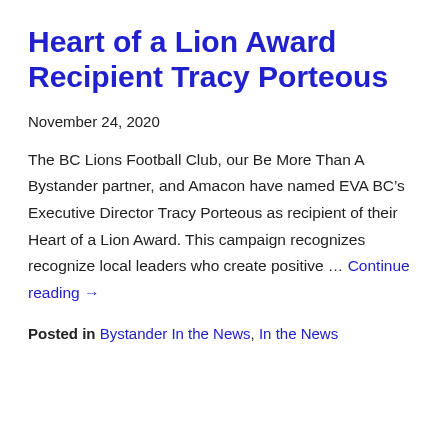Heart of a Lion Award Recipient Tracy Porteous
November 24, 2020
The BC Lions Football Club, our Be More Than A Bystander partner, and Amacon have named EVA BC’s Executive Director Tracy Porteous as recipient of their Heart of a Lion Award. This campaign recognizes recognize local leaders who create positive … Continue reading →
Posted in Bystander In the News, In the News